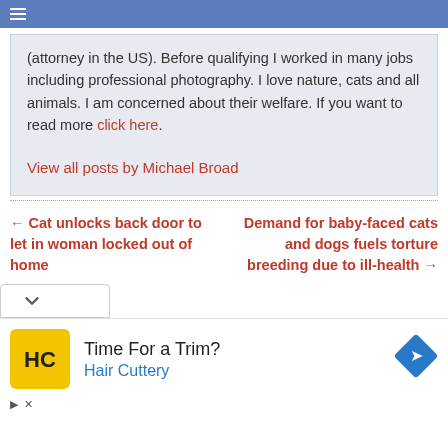≡
(attorney in the US). Before qualifying I worked in many jobs including professional photography. I love nature, cats and all animals. I am concerned about their welfare. If you want to read more click here.
View all posts by Michael Broad
← Cat unlocks back door to let in woman locked out of home
Demand for baby-faced cats and dogs fuels torture breeding due to ill-health →
[Figure (logo): Hair Cuttery HC logo in yellow circle]
Time For a Trim? Hair Cuttery